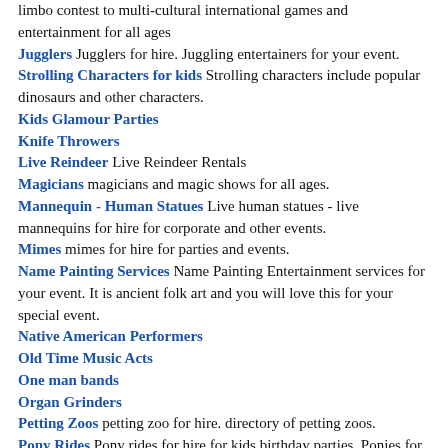limbo contest to multi-cultural international games and entertainment for all ages
Jugglers Jugglers for hire. Juggling entertainers for your event.
Strolling Characters for kids Strolling characters include popular dinosaurs and other characters.
Kids Glamour Parties
Knife Throwers
Live Reindeer Live Reindeer Rentals
Magicians magicians and magic shows for all ages.
Mannequin - Human Statues Live human statues - live mannequins for hire for corporate and other events.
Mimes mimes for hire for parties and events.
Name Painting Services Name Painting Entertainment services for your event. It is ancient folk art and you will love this for your special event.
Native American Performers
Old Time Music Acts
One man bands
Organ Grinders
Petting Zoos petting zoo for hire. directory of petting zoos.
Pony Rides Pony rides for hire for kids birthday parties. Ponies for festivals and corporate events.